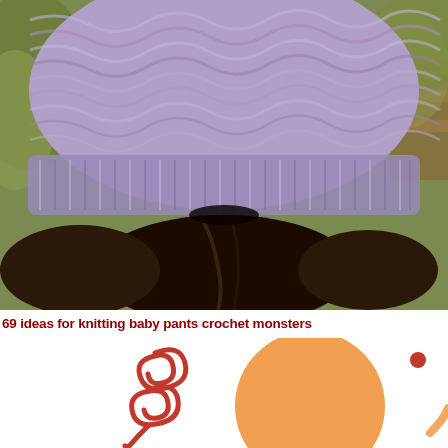[Figure (photo): Back view of a person wearing a purple/lavender knitted slouchy beanie hat, with long dark brown hair flowing down. Outdoor background with green foliage and a wooden bench visible.]
69 ideas for knitting baby pants crochet monsters
[Figure (illustration): Partial illustration on white background showing red curly/spiral shapes on the left side, a large orange circle in the center, and a small red dot on the right side, with an orange curved shape at the bottom right. Appears to be part of a crochet monster pattern or craft illustration.]